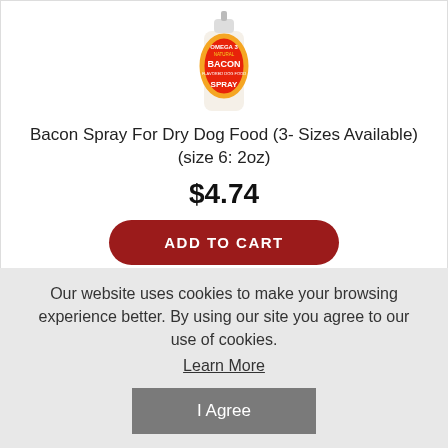[Figure (photo): A bottle of Omega 3 Natural Bacon Flavored Dog Food Spray product]
Bacon Spray For Dry Dog Food (3- Sizes Available) (size 6: 2oz)
$4.74
ADD TO CART
Our website uses cookies to make your browsing experience better. By using our site you agree to our use of cookies.
Learn More
I Agree